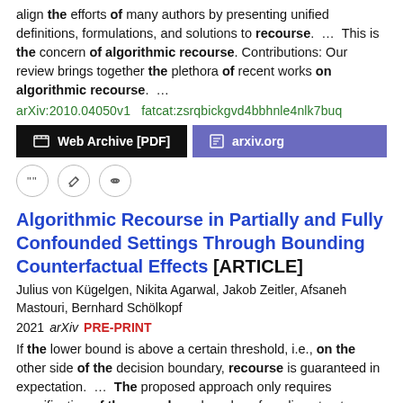align the efforts of many authors by presenting unified definitions, formulations, and solutions to recourse.  ...  This is the concern of algorithmic recourse. Contributions: Our review brings together the plethora of recent works on algorithmic recourse.  ...
arXiv:2010.04050v1   fatcat:zsrqbickgvd4bbhnle4nlk7buq
[Figure (other): Two buttons: 'Web Archive [PDF]' (black background) and 'arxiv.org' (purple background)]
[Figure (other): Three icon circle buttons: quote, edit, link]
Algorithmic Recourse in Partially and Fully Confounded Settings Through Bounding Counterfactual Effects [ARTICLE]
Julius von Kügelgen, Nikita Agarwal, Jakob Zeitler, Afsaneh Mastouri, Bernhard Schölkopf
2021 arXiv  PRE-PRINT
If the lower bound is above a certain threshold, i.e., on the other side of the decision boundary, recourse is guaranteed in expectation.  ...  The proposed approach only requires specification of the causal graph and confounding structure and bounds the expected counterfactual effect of recourse actions.  ...  This work was supported by the German Federal Ministry of Education and